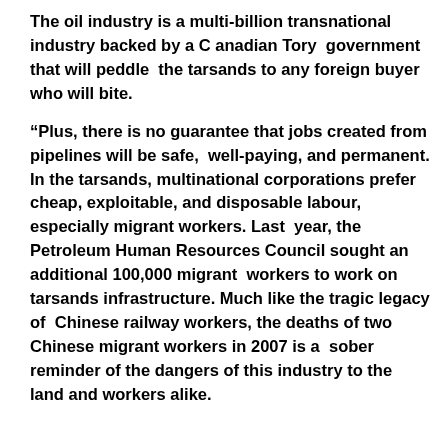The oil industry is a multi-billion transnational industry backed by a C anadian Tory government that will peddle the tarsands to any foreign buyer who will bite.
“Plus, there is no guarantee that jobs created from pipelines will be safe, well-paying, and permanent. In the tarsands, multinational corporations prefer cheap, exploitable, and disposable labour, especially migrant workers. Last year, the Petroleum Human Resources Council sought an additional 100,000 migrant workers to work on tarsands infrastructure. Much like the tragic legacy of Chinese railway workers, the deaths of two Chinese migrant workers in 2007 is a sober reminder of the dangers of this industry to the land and workers alike.